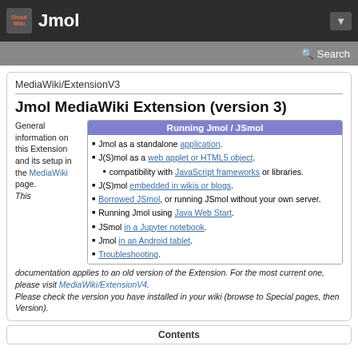Jmol
MediaWiki/ExtensionV3
Jmol MediaWiki Extension (version 3)
General information on this Extension and its setup in the MediaWiki page.
This documentation applies to an old version of the Extension. For the most current one, please visit MediaWiki/ExtensionV4.
Please check the version you have installed in your wiki (browse to Special pages, then Version).
Jmol as a standalone application.
J(S)mol as a web applet or HTML5 object.
  compatibility with JavaScript frameworks or libraries.
J(S)mol embedded in wikis or blogs.
Borrowed JSmol, or running JSmol without your own server.
Running Jmol using Java Web Start.
JSmol in a Jupyter notebook.
Jmol in an Android tablet.
Troubleshooting.
| Contents |
| --- |